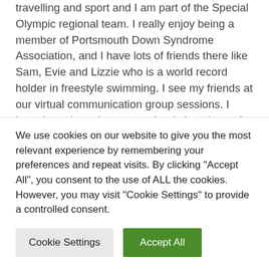travelling and sport and I am part of the Special Olympic regional team. I really enjoy being a member of Portsmouth Down Syndrome Association, and I have lots of friends there like Sam, Evie and Lizzie who is a world record holder in freestyle swimming. I see my friends at our virtual communication group sessions. I have been in mainstream school since I was 4, supported by the charity School Advisory Service.
I like being a charity ambassador for Portsmouth DSA. I help out at events and fundraisers. Some of us
We use cookies on our website to give you the most relevant experience by remembering your preferences and repeat visits. By clicking "Accept All", you consent to the use of ALL the cookies. However, you may visit "Cookie Settings" to provide a controlled consent.